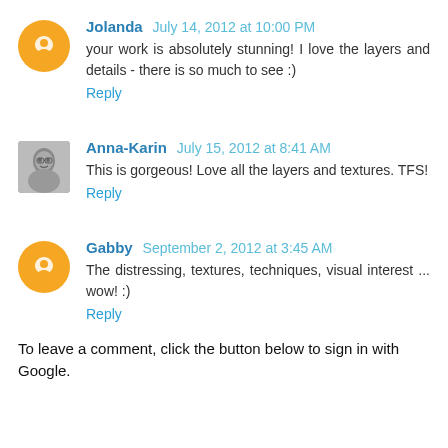Jolanda July 14, 2012 at 10:00 PM
your work is absolutely stunning! I love the layers and details - there is so much to see :)
Reply
Anna-Karin July 15, 2012 at 8:41 AM
This is gorgeous! Love all the layers and textures. TFS!
Reply
Gabby September 2, 2012 at 3:45 AM
The distressing, textures, techniques, visual interest ... wow! :)
Reply
To leave a comment, click the button below to sign in with Google.